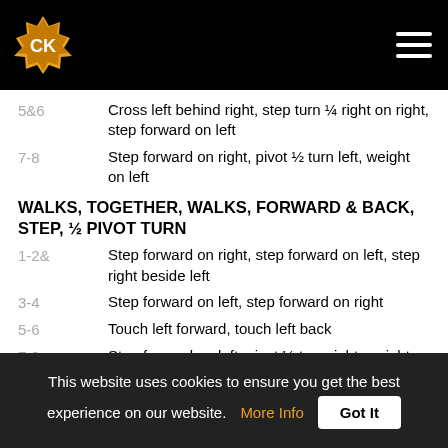Copper Knob logo and navigation
5&6 — Cross left behind right, step turn ¼ right on right, step forward on left
7-8 — Step forward on right, pivot ½ turn left, weight on left
WALKS, TOGETHER, WALKS, FORWARD & BACK, STEP, ½ PIVOT TURN
1-2& — Step forward on right, step forward on left, step right beside left
3-4 — Step forward on left, step forward on right
5-6 — Touch left forward, touch left back
7-8 — Step forward on left, pivot ½ turn right, weight on right
SCISSOR STEP LEFT & RIGHT, STEP CROSS TOUCH, STEP ¼ TURN, CROSS TOUCH
1&2 — Step left to side, step right beside left, cross
This website uses cookies to ensure you get the best experience on our website. More Info Got It